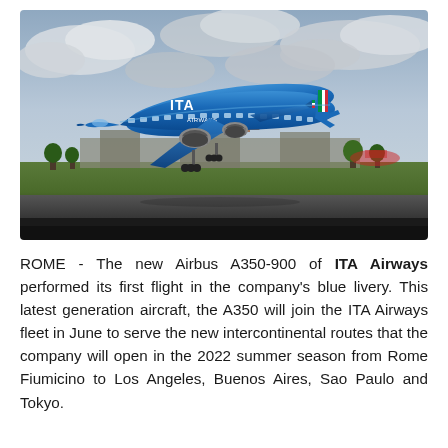[Figure (photo): ITA Airways blue Airbus A350-900 aircraft taking off from an airport runway, with airport terminal buildings visible in the background under a cloudy sky. The aircraft features a bright blue livery with 'ITA Airways' branding and an Italian flag on the tail.]
ROME - The new Airbus A350-900 of ITA Airways performed its first flight in the company's blue livery. This latest generation aircraft, the A350 will join the ITA Airways fleet in June to serve the new intercontinental routes that the company will open in the 2022 summer season from Rome Fiumicino to Los Angeles, Buenos Aires, Sao Paulo and Tokyo.